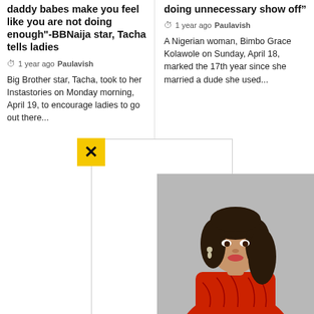daddy babes make you feel like you are not doing enough"-BBNaija star, Tacha tells ladies
1 year ago  Paulavish
Big Brother star, Tacha, took to her Instastories on Monday morning, April 19, to encourage ladies to go out there...
doing unnecessary show off”
1 year ago  Paulavish
A Nigerian woman, Bimbo Grace Kolawole on Sunday, April 18, marked the 17th year since she married a dude she used...
[Figure (photo): Photo of a Nigerian woman in a red dress smiling at the camera, with long dark hair]